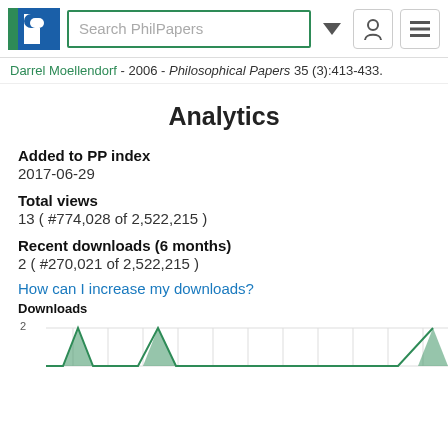[Figure (logo): PhilPapers logo with blue P and green stripe]
Search PhilPapers
Darrel Moellendorf - 2006 - Philosophical Papers 35 (3):413-433.
Analytics
Added to PP index
2017-06-29
Total views
13 ( #774,028 of 2,522,215 )
Recent downloads (6 months)
2 ( #270,021 of 2,522,215 )
How can I increase my downloads?
Downloads
[Figure (line-chart): Partial line chart showing downloads over time, y-axis shows value of 2, green line with triangular peaks visible at bottom of page]